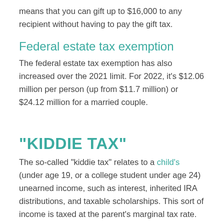means that you can gift up to $16,000 to any recipient without having to pay the gift tax.
Federal estate tax exemption
The federal estate tax exemption has also increased over the 2021 limit. For 2022, it's $12.06 million per person (up from $11.7 million) or $24.12 million for a married couple.
“KIDDIE TAX”
The so-called “kiddie tax” relates to a child’s (under age 19, or a college student under age 24) unearned income, such as interest, inherited IRA distributions, and taxable scholarships. This sort of income is taxed at the parent’s marginal tax rate.